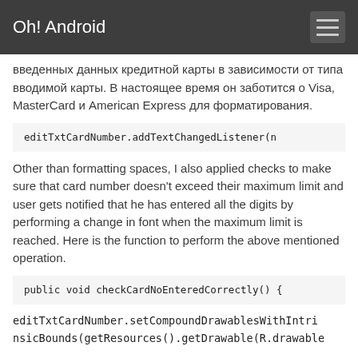Oh! Android
введенных данных кредитной карты в зависимости от типа вводимой карты. В настоящее время он заботится о Visa, MasterCard и American Express для форматирования.
editTxtCardNumber.addTextChangedListener(n
Other than formatting spaces, I also applied checks to make sure that card number doesn't exceed their maximum limit and user gets notified that he has entered all the digits by performing a change in font when the maximum limit is reached. Here is the function to perform the above mentioned operation.
public void checkCardNoEnteredCorrectly() {
editTxtCardNumber.setCompoundDrawablesWithIntrinsicBounds(getResources().getDrawable(R.drawable